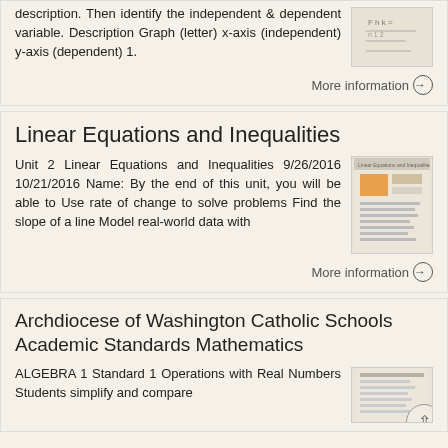description. Then identify the independent & dependent variable. Description Graph (letter) x-axis (independent) y-axis (dependent) 1.
More information →
Linear Equations and Inequalities
Unit 2 Linear Equations and Inequalities 9/26/2016 10/21/2016 Name: By the end of this unit, you will be able to Use rate of change to solve problems Find the slope of a line Model real-world data with
More information →
Archdiocese of Washington Catholic Schools Academic Standards Mathematics
ALGEBRA 1 Standard 1 Operations with Real Numbers Students simplify and compare